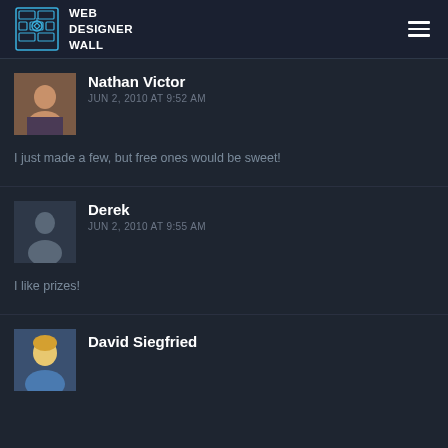WEB DESIGNER WALL
Nathan Victor
JUN 2, 2010 AT 9:52 AM
I just made a few, but free ones would be sweet!
Derek
JUN 2, 2010 AT 9:55 AM
I like prizes!
David Siegfried